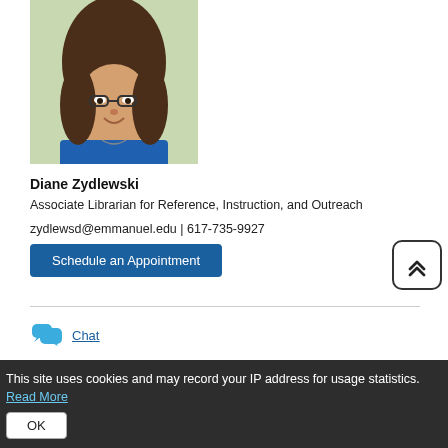[Figure (photo): Headshot photo of Diane Zydlewski, a woman with glasses and brown hair, smiling, wearing a blue top.]
Diane Zydlewski
Associate Librarian for Reference, Instruction, and Outreach
zydlewsd@emmanuel.edu | 617-735-9927
Schedule an Appointment
[Figure (other): Chat icon (two overlapping speech bubbles in blue)]
Chat
[Figure (other): Phone icon in blue]
617-655-7979
This site uses cookies and may record your IP address for usage statistics. Read More
OK